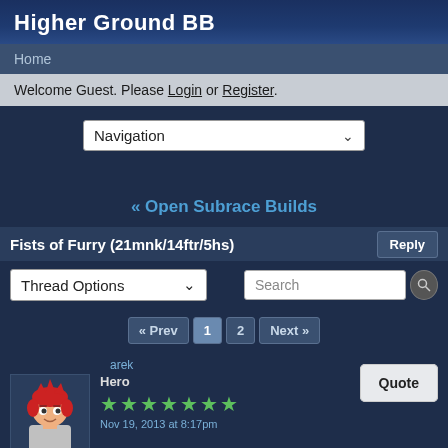Higher Ground BB
Home
Welcome Guest. Please Login or Register.
Navigation
« Open Subrace Builds
Fists of Furry (21mnk/14ftr/5hs)
Thread Options
Search
« Prev  1  2  Next »
arek
Hero
★★★★★★★
Nov 19, 2013 at 8:17pm
Quote